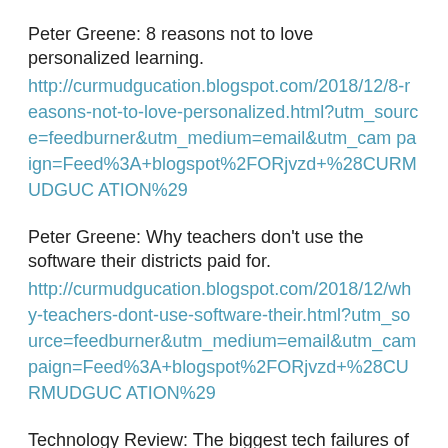Peter Greene: 8 reasons not to love personalized learning. http://curmudgucation.blogspot.com/2018/12/8-reasons-not-to-love-personalized.html?utm_source=feedburner&utm_medium=email&utm_campaign=Feed%3A+blogspot%2FORjvzd+%28CURMUDGUCATION%29
Peter Greene: Why teachers don't use the software their districts paid for. http://curmudgucation.blogspot.com/2018/12/why-teachers-dont-use-software-their.html?utm_source=feedburner&utm_medium=email&utm_campaign=Feed%3A+blogspot%2FORjvzd+%28CURMUDGUCATION%29
Technology Review: The biggest tech failures of 2018. https://www.technologyreview.com/s/612646/the-biggest-technology-failures-of-2018/